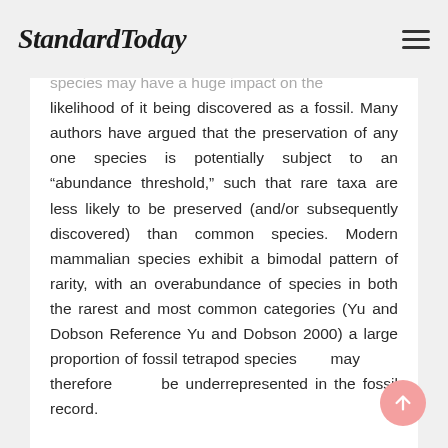StandardToday
species may have a huge impact on the likelihood of it being discovered as a fossil. Many authors have argued that the preservation of any one species is potentially subject to an “abundance threshold,” such that rare taxa are less likely to be preserved (and/or subsequently discovered) than common species. Modern mammalian species exhibit a bimodal pattern of rarity, with an overabundance of species in both the rarest and most common categories (Yu and Dobson Reference Yu and Dobson 2000) a large proportion of fossil tetrapod species may therefore be underrepresented in the fossil record.